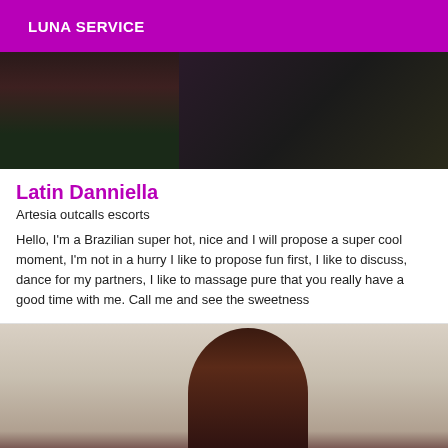LUNA SERVICE
[Figure (photo): A person standing in a dark room with green and dark background, wearing a patterned outfit, photo cropped at top.]
Latin Danniella
Artesia outcalls escorts
Hello, I'm a Brazilian super hot, nice and I will propose a super cool moment, I'm not in a hurry I like to propose fun first, I like to discuss, dance for my partners, I like to massage pure that you really have a good time with me. Call me and see the sweetness
[Figure (photo): A woman with reddish-brown hair seen from behind/side, wearing dark clothing, against a light beige background.]